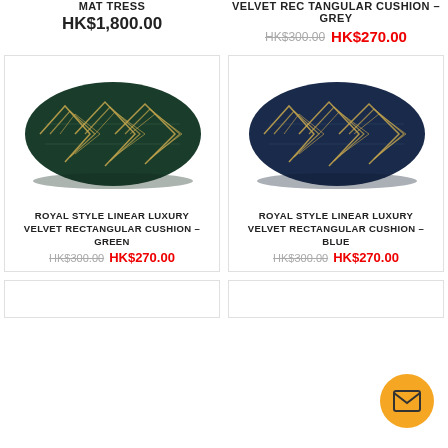MATTRESS
HK$1,800.00
VELVET RECTANGULAR CUSHION - GREY
HK$300.00  HK$270.00
[Figure (photo): Green velvet rectangular cushion with gold geometric linear pattern]
ROYAL STYLE LINEAR LUXURY VELVET RECTANGULAR CUSHION - GREEN
HK$300.00  HK$270.00
[Figure (photo): Blue velvet rectangular cushion with gold geometric linear pattern]
ROYAL STYLE LINEAR LUXURY VELVET RECTANGULAR CUSHION - BLUE
HK$300.00  HK$270.00